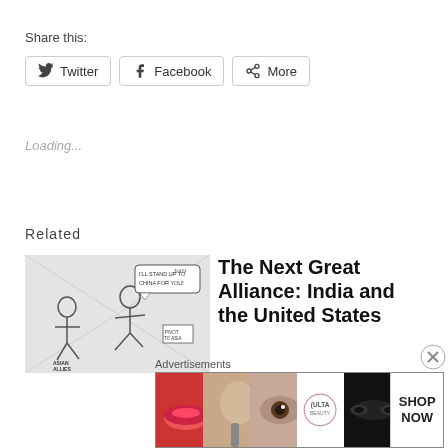Share this:
Twitter  Facebook  More
Loading...
Related
[Figure (illustration): Editorial cartoon showing a figure saying 'I'll stand up to China for you!' running away from Asian Allies toward 'Pivot to Asia']
The Next Great Alliance: India and the United States
Advertisements
[Figure (photo): Ulta Beauty advertisement banner with makeup imagery and 'SHOP NOW' button]